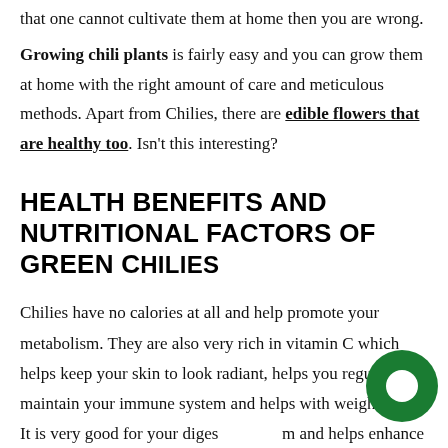that one cannot cultivate them at home then you are wrong. Growing chili plants is fairly easy and you can grow them at home with the right amount of care and meticulous methods. Apart from Chilies, there are edible flowers that are healthy too. Isn't this interesting?
HEALTH BENEFITS AND NUTRITIONAL FACTORS OF GREEN CHILIES
Chilies have no calories at all and help promote your metabolism. They are also very rich in vitamin C which helps keep your skin to look radiant, helps you regulate and maintain your immune system and helps with weight loss. It is very good for your digestive system and helps enhance your bowel movements. It is rich in phytonutrients as well. It is good for your heart's health as it helps